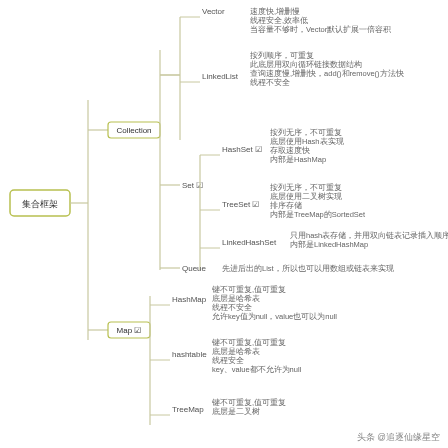[Figure (flowchart): Mind map of Java Collections Framework (集合框架) showing Collection (with List containing Vector, LinkedList; Set containing HashSet, TreeSet, LinkedHashSet; Queue) and Map (with HashMap, hashtable, TreeMap) with Chinese descriptions of each class's properties.]
头条 @追逐仙缘星空